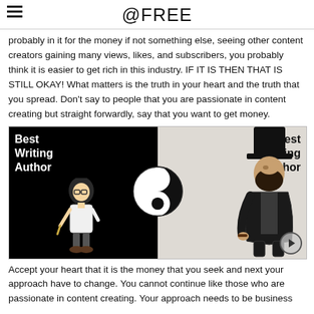@FREE
probably in it for the money if not something else, seeing other content creators gaining many views, likes, and subscribers, you probably think it is easier to get rich in this industry. IF IT IS THEN THAT IS STILL OKAY! What matters is the truth in your heart and the truth that you spread. Don't say to people that you are passionate in content creating but straight forwardly, say that you want to get money.
[Figure (illustration): Split image showing 'Best Writing Author' (cartoon figure on black background) vs 'Best Selling Author' (vintage gentleman figure on light background) with a yin-yang symbol in the center.]
Accept your heart that it is the money that you seek and next your approach have to change. You cannot continue like those who are passionate in content creating. Your approach needs to be business